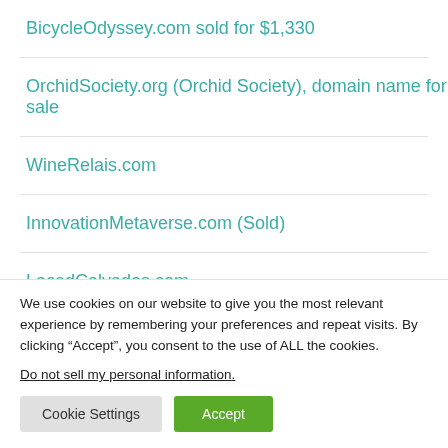BicycleOdyssey.com sold for $1,330
OrchidSociety.org (Orchid Society), domain name for sale
WineRelais.com
InnovationMetaverse.com (Sold)
LacedCalvados.com
We use cookies on our website to give you the most relevant experience by remembering your preferences and repeat visits. By clicking “Accept”, you consent to the use of ALL the cookies.
Do not sell my personal information.